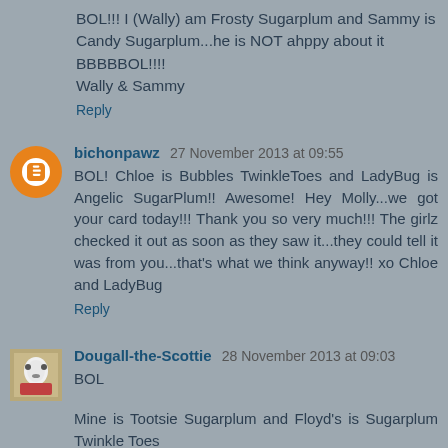BOL!!! I (Wally) am Frosty Sugarplum and Sammy is Candy Sugarplum...he is NOT ahppy about it BBBBBOL!!!!
Wally & Sammy
Reply
bichonpawz 27 November 2013 at 09:55
BOL! Chloe is Bubbles TwinkleToes and LadyBug is Angelic SugarPlum!! Awesome! Hey Molly...we got your card today!!! Thank you so very much!!! The girlz checked it out as soon as they saw it...they could tell it was from you...that's what we think anyway!! xo Chloe and LadyBug
Reply
Dougall-the-Scottie 28 November 2013 at 09:03
BOL
Mine is Tootsie Sugarplum and Floyd's is Sugarplum Twinkle Toes